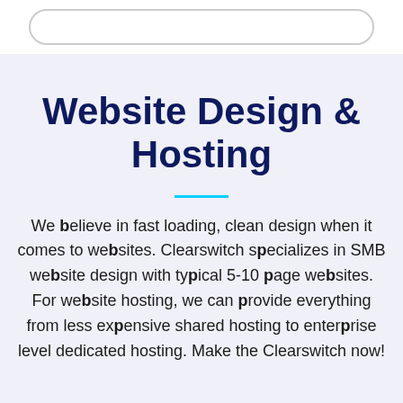Website Design & Hosting
We believe in fast loading, clean design when it comes to websites. Clearswitch specializes in SMB website design with typical 5-10 page websites. For website hosting, we can provide everything from less expensive shared hosting to enterprise level dedicated hosting. Make the Clearswitch now!